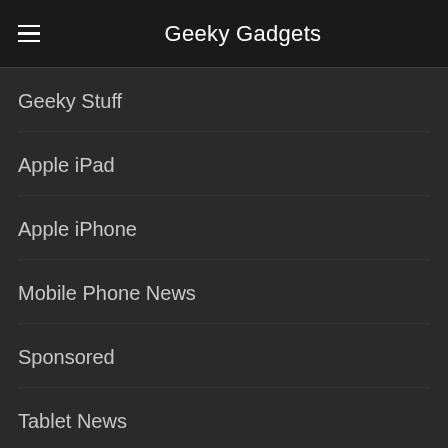Geeky Gadgets
Geeky Stuff
Apple iPad
Apple iPhone
Mobile Phone News
Sponsored
Tablet News
Guides
DISCLOSURE
Some of our articles include affiliate links. If you buy something